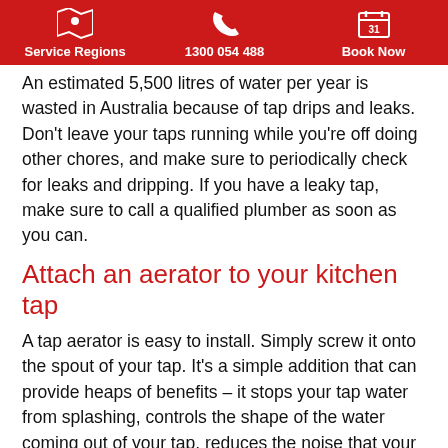Service Regions | 1300 054 488 | Book Now
An estimated 5,500 litres of water per year is wasted in Australia because of tap drips and leaks. Don't leave your taps running while you're off doing other chores, and make sure to periodically check for leaks and dripping. If you have a leaky tap, make sure to call a qualified plumber as soon as you can.
Attach an aerator to your kitchen tap
A tap aerator is easy to install. Simply screw it onto the spout of your tap. It's a simple addition that can provide heaps of benefits – it stops your tap water from splashing, controls the shape of the water coming out of your tap, reduces the noise that your tap makes, and helps to save water and energy. However, make sure to keep your aerator clean, as it is prone to dirt and residue buildup over time. Carefully unscrew the aerator and clean it with a small toothbrush, rinsing it as needed.